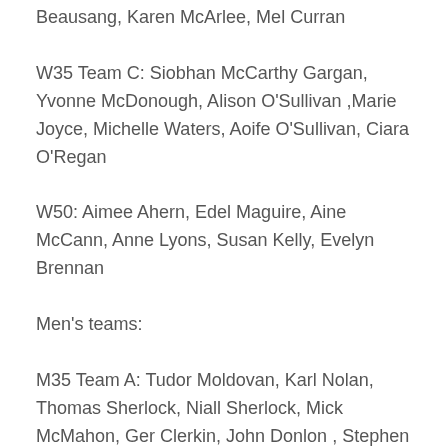Beausang, Karen McArlee, Mel Curran
W35 Team C: Siobhan McCarthy Gargan, Yvonne McDonough, Alison O'Sullivan ,Marie Joyce, Michelle Waters, Aoife O'Sullivan, Ciara O'Regan
W50: Aimee Ahern, Edel Maguire, Aine McCann, Anne Lyons, Susan Kelly, Evelyn Brennan
Men's teams:
M35 Team A: Tudor Moldovan, Karl Nolan, Thomas Sherlock, Niall Sherlock, Mick McMahon, Ger Clerkin, John Donlon , Stephen Harkness
M35 team B: James Dunne, Anthony Doran ,Steve